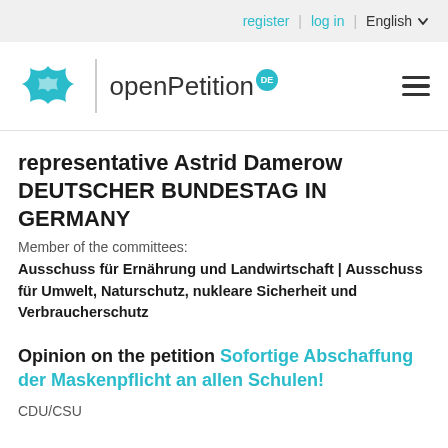register | log in | English
[Figure (logo): openPetition logo with teal bird/star icon and DE badge]
representative Astrid Damerow
DEUTSCHER BUNDESTAG IN GERMANY
Member of the committees:
Ausschuss für Ernährung und Landwirtschaft | Ausschuss für Umwelt, Naturschutz, nukleare Sicherheit und Verbraucherschutz
Opinion on the petition Sofortige Abschaffung der Maskenpflicht an allen Schulen!
CDU/CSU